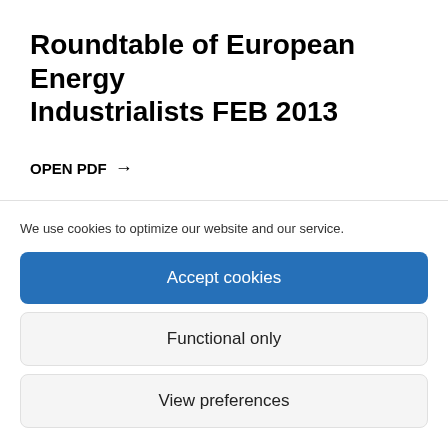Roundtable of European Energy Industrialists FEB 2013
OPEN PDF →
We use cookies to optimize our website and our service.
Accept cookies
Functional only
View preferences